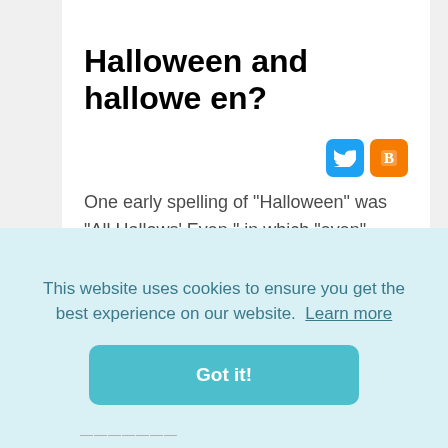Halloween and hallowe en?
[Figure (other): Twitter and Blogger social share icons]
One early spelling of "Halloween" was "All Hallows' Even," in which "even" meant "evening." Other spellings before "Halloween" included "Hallow-e'en," "Alhollon Eue," and "Halhalon evyn." You can certainly use "Hallowe'en" if you want an 18th-century feel for your party invitations or decorations.
This website uses cookies to ensure you get the best experience on our website. Learn more
Got it!